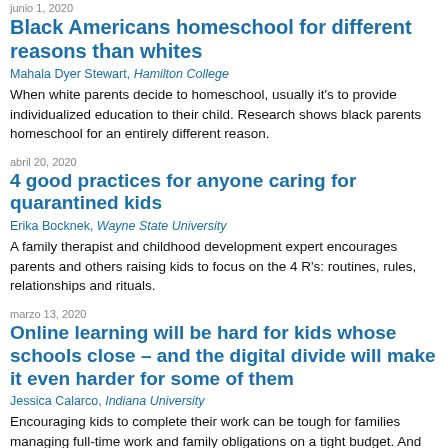junio 1, 2020
Black Americans homeschool for different reasons than whites
Mahala Dyer Stewart, Hamilton College
When white parents decide to homeschool, usually it's to provide individualized education to their child. Research shows black parents homeschool for an entirely different reason.
abril 20, 2020
4 good practices for anyone caring for quarantined kids
Erika Bocknek, Wayne State University
A family therapist and childhood development expert encourages parents and others raising kids to focus on the 4 R's: routines, rules, relationships and rituals.
marzo 13, 2020
Online learning will be hard for kids whose schools close – and the digital divide will make it even harder for some of them
Jessica Calarco, Indiana University
Encouraging kids to complete their work can be tough for families managing full-time work and family obligations on a tight budget. And that's true even when schools are operating normally.